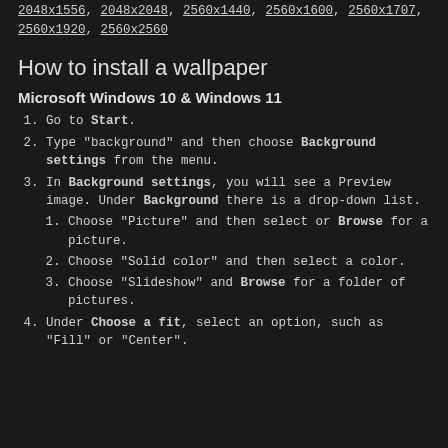2048x1556, 2048x2048, 2560x1440, 2560x1600, 2560x1707, 2560x1920, 2560x2560
How to install a wallpaper
Microsoft Windows 10 & Windows 11
Go to Start.
Type "background" and then choose Background settings from the menu.
In Background settings, you will see a Preview image. Under Background there is a drop-down list.
Choose "Picture" and then select or Browse for a picture.
Choose "Solid color" and then select a color.
Choose "Slideshow" and Browse for a folder of pictures.
Under Choose a fit, select an option, such as "Fill" or "Center".